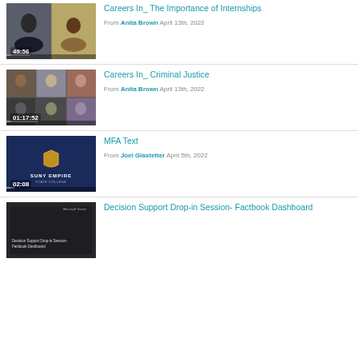[Figure (screenshot): Video thumbnail showing two people in a Zoom call, duration 49:56]
Careers In_ The Importance of Internships
From Anita Brown April 13th, 2022
[Figure (screenshot): Video thumbnail showing six people in a Zoom grid call, duration 01:17:52]
Careers In_ Criminal Justice
From Anita Brown April 13th, 2022
[Figure (screenshot): Video thumbnail showing SUNY Empire State College logo on dark blue background, duration 02:08]
MFA Text
From Joel Glastetter April 5th, 2022
[Figure (screenshot): Video thumbnail showing dark screenshot with Decision Support Drop-in Session- Factbook Dashboard text]
Decision Support Drop-in Session- Factbook Dashboard